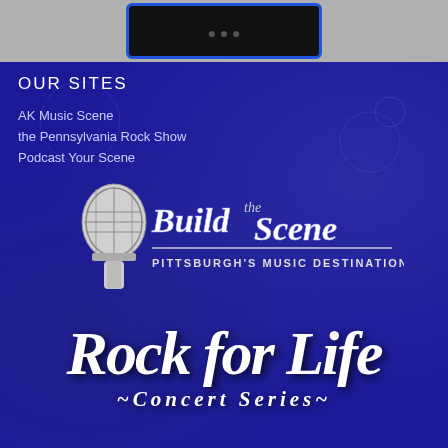[Figure (logo): Dark rectangular logo box with blue border at top of page]
OUR SITES
AK Music Scene
the Pennsylvania Rock Show
Podcast Your Scene
[Figure (logo): Build the Scene logo with retro microphone — Pittsburgh's Music Destination]
[Figure (logo): Rock for Life ~Concert Series~ logo in gothic white lettering on dark blue concert background]